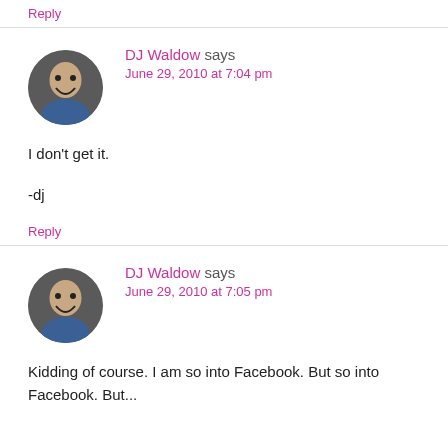Reply
DJ Waldow says
June 29, 2010 at 7:04 pm
I don't get it.
-dj
Reply
DJ Waldow says
June 29, 2010 at 7:05 pm
Kidding of course. I am so into Facebook. But so into Facebook. But...